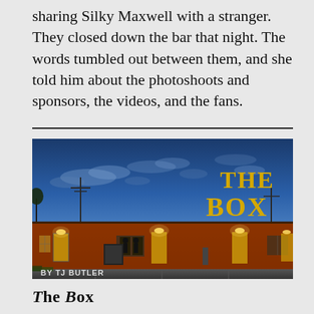sharing Silky Maxwell with a stranger. They closed down the bar that night. The words tumbled out between them, and she told him about the photoshoots and sponsors, the videos, and the fans.
[Figure (photo): Nighttime photo of a long brick motel or commercial building with warm orange lighting illuminating several doors and windows. The sky is deep blue with scattered clouds. Text overlaid in golden/yellow reads 'THE BOX' in the upper right. At the bottom left, text reads 'BY TJ BUTLER'.]
The Box